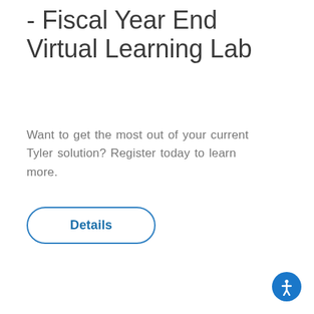- Fiscal Year End Virtual Learning Lab
Want to get the most out of your current Tyler solution? Register today to learn more.
Details